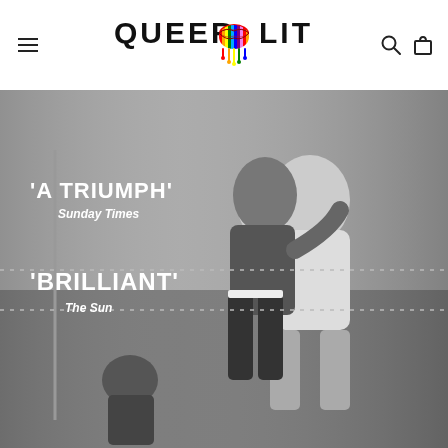[Figure (logo): QueerLit logo with rainbow lips graphic between QUEER and LIT text]
[Figure (photo): Black and white photograph of two boxers in a clinch/embrace in a boxing ring, with overlay text quotes. Left side shows: 'A TRIUMPH' Sunday Times, 'BRILLIANT' The Sun]